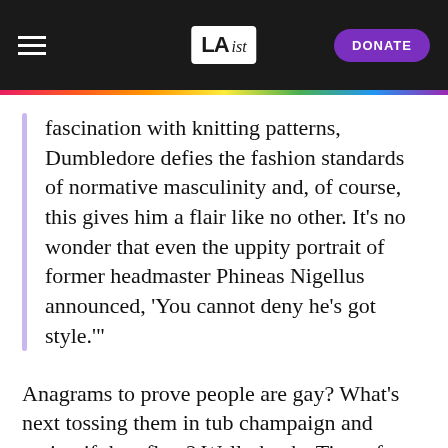LAist — DONATE
fascination with knitting patterns, Dumbledore defies the fashion standards of normative masculinity and, of course, this gives him a flair like no other. It's no wonder that even the uppity portrait of former headmaster Phineas Nigellus announced, 'You cannot deny he's got style.'"
Anagrams to prove people are gay? What's next tossing them in tub champaign and seeing if they float? Well, thanks Times for this investigative